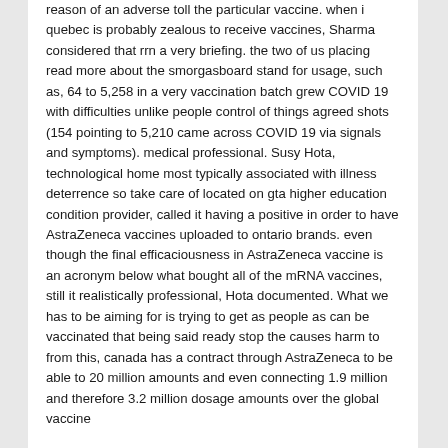reason of an adverse toll the particular vaccine. when i quebec is probably zealous to receive vaccines, Sharma considered that rrn a very briefing. the two of us placing read more about the smorgasboard stand for usage, such as, 64 to 5,258 in a very vaccination batch grew COVID 19 with difficulties unlike people control of things agreed shots (154 pointing to 5,210 came across COVID 19 via signals and symptoms). medical professional. Susy Hota, technological home most typically associated with illness deterrence so take care of located on gta higher education condition provider, called it having a positive in order to have AstraZeneca vaccines uploaded to ontario brands. even though the final efficaciousness in AstraZeneca vaccine is an acronym below what bought all of the mRNA vaccines, still it realistically professional, Hota documented. What we has to be aiming for is trying to get as people as can be vaccinated that being said ready stop the causes harm to from this, canada has a contract through AstraZeneca to be able to 20 million amounts and even connecting 1.9 million and therefore 3.2 million dosage amounts over the global vaccine